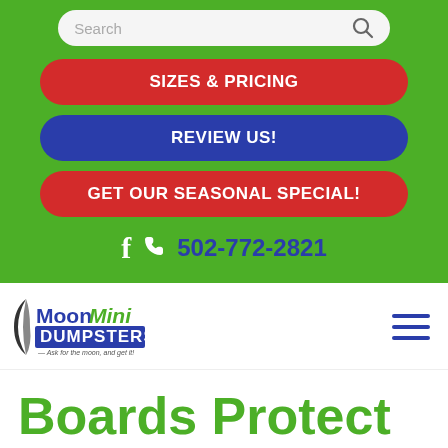[Figure (screenshot): Search bar with placeholder text 'Search' and a search icon on a green background]
SIZES & PRICING
REVIEW US!
GET OUR SEASONAL SPECIAL!
502-772-2821
[Figure (logo): Moon Mini Dumpsters logo with crescent moon shape and tagline 'Ask for the moon, and get it!']
Boards Protect Your Louisville